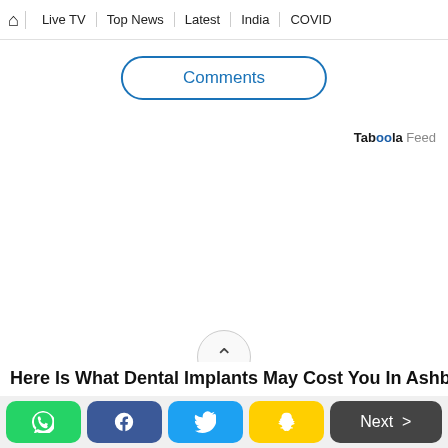🏠 | Live TV | Top News | Latest | India | COVID
Comments
Taboola Feed
Here Is What Dental Implants May Cost You In Ashburn
[WhatsApp] [Facebook] [Twitter] [Snapchat] [Next >]